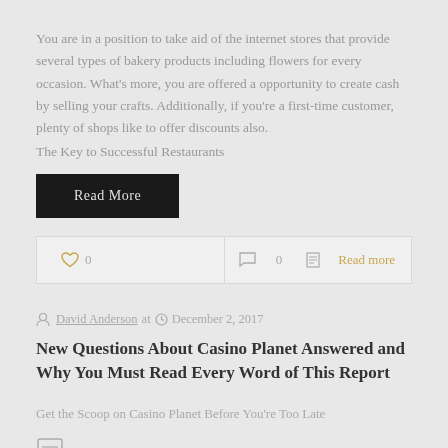You are in a position to take aid of the internet stores that provide several types of bakery products including flowers for every occasion. What's more, you are offered a opportunity to create cash by selling your crafts. Additionally, if you're a first-time customer, plenty of shops like to offer discounts also.
The Key to Successful Restaurants
Read More
0   0   Read more
David Anderson at   December 2, 2017
New Questions About Casino Planet Answered and Why You Must Read Every Word of This Report
Get the Scoop on Casino Planet Before You're Too Late